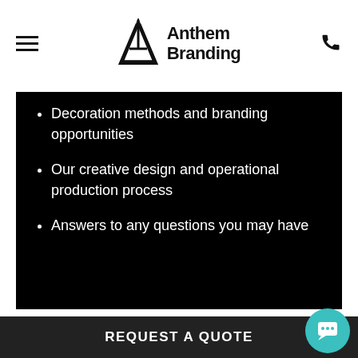Anthem Branding
Decoration methods and branding opportunities
Our creative design and operational production process
Answers to any questions you may have
Full Name*
REQUEST A QUOTE